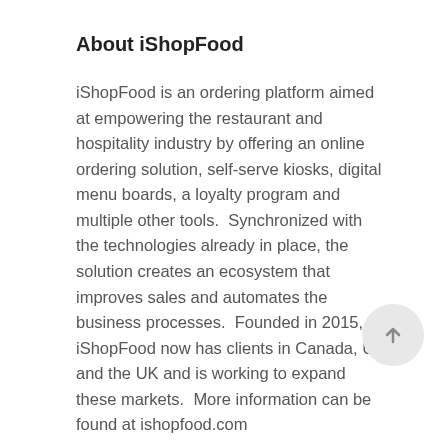About iShopFood
iShopFood is an ordering platform aimed at empowering the restaurant and hospitality industry by offering an online ordering solution, self-serve kiosks, digital menu boards, a loyalty program and multiple other tools.  Synchronized with the technologies already in place, the solution creates an ecosystem that improves sales and automates the business processes.  Founded in 2015, iShopFood now has clients in Canada, US and the UK and is working to expand these markets.  More information can be found at ishopfood.com